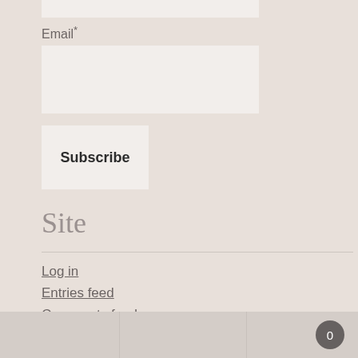Email*
Subscribe
Site
Log in
Entries feed
Comments feed
WordPress.org
0